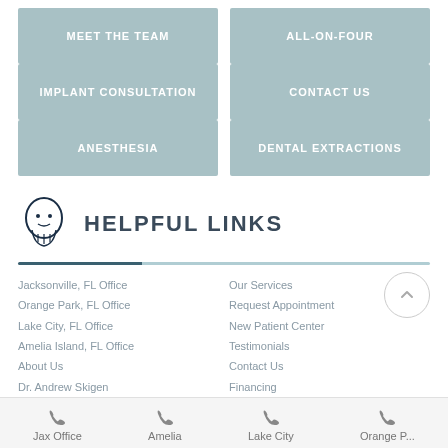MEET THE TEAM
ALL-ON-FOUR
IMPLANT CONSULTATION
CONTACT US
ANESTHESIA
DENTAL EXTRACTIONS
HELPFUL LINKS
Jacksonville, FL Office
Orange Park, FL Office
Lake City, FL Office
Amelia Island, FL Office
About Us
Dr. Andrew Skigen
Our Services
Request Appointment
New Patient Center
Testimonials
Contact Us
Financing
Jax Office | Amelia | Lake City | Orange P...